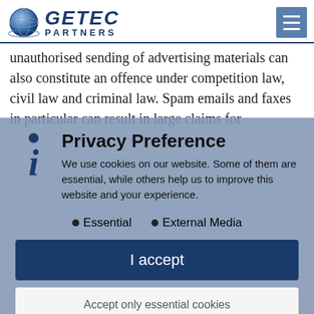[Figure (logo): GETEC Partners logo with globe icon and company name]
unauthorised sending of advertising materials can also constitute an offence under competition law, civil law and criminal law. Spam emails and faxes in particular can result in large claims for
Privacy Preference
We use cookies on our website. Some of them are essential, while others help us to improve this website and your experience.
Essential
External Media
I accept
Accept only essential cookies
Individual Privacy Preferences
Cookie Details | Privacy Policy | Imprint